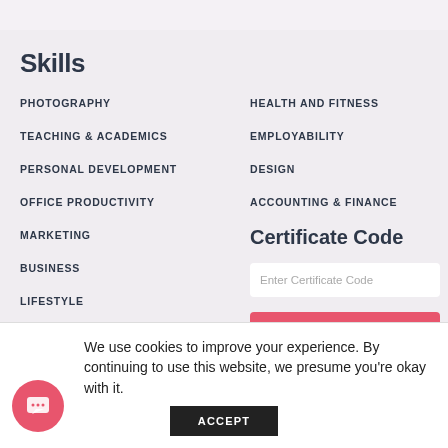Skills
PHOTOGRAPHY
TEACHING & ACADEMICS
PERSONAL DEVELOPMENT
OFFICE PRODUCTIVITY
MARKETING
BUSINESS
LIFESTYLE
IT & SOFTWARE
HEALTH AND FITNESS
EMPLOYABILITY
DESIGN
ACCOUNTING & FINANCE
Certificate Code
Enter Certificate Code
VALIDATE
We use cookies to improve your experience. By continuing to use this website, we presume you're okay with it.
ACCEPT